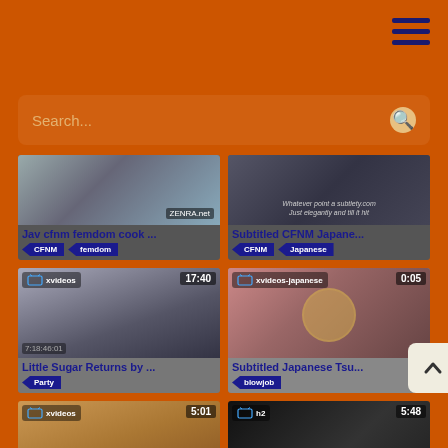[Figure (screenshot): Search bar UI with orange background and hamburger menu icon]
[Figure (screenshot): Video thumbnail card: Jav cfnm femdom cook ... | tags: CFNM, femdom]
[Figure (screenshot): Video thumbnail card: Subtitled CFNM Japane... | tags: CFNM, Japanese]
[Figure (screenshot): Video thumbnail card: Little Sugar Returns by ... | 17:40 | xvideos | tags: Party]
[Figure (screenshot): Video thumbnail card: Subtitled Japanese Tsu... | 0:05 | xvideos-japanese | tags: blowjob]
[Figure (screenshot): Video thumbnail card: partial bottom row left | 5:01 | xvideos]
[Figure (screenshot): Video thumbnail card: partial bottom row right | 5:48 | h2]